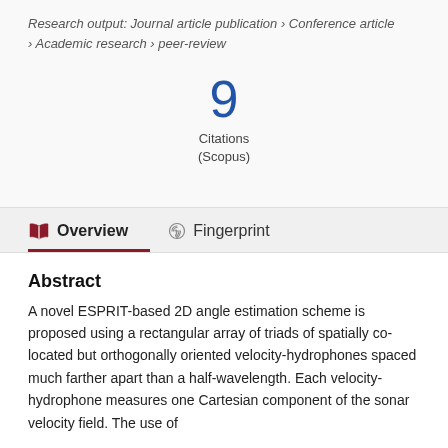Research output: Journal article publication › Conference article › Academic research › peer-review
9 Citations (Scopus)
Overview   Fingerprint
Abstract
A novel ESPRIT-based 2D angle estimation scheme is proposed using a rectangular array of triads of spatially co-located but orthogonally oriented velocity-hydrophones spaced much farther apart than a half-wavelength. Each velocity-hydrophone measures one Cartesian component of the sonar velocity field. The use of